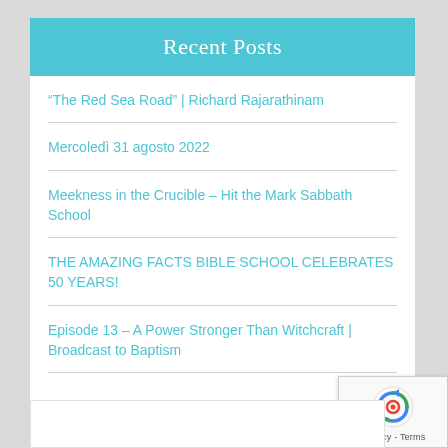Recent Posts
“The Red Sea Road” | Richard Rajarathinam
Mercoledì 31 agosto 2022
Meekness in the Crucible – Hit the Mark Sabbath School
THE AMAZING FACTS BIBLE SCHOOL CELEBRATES 50 YEARS!
Episode 13 – A Power Stronger Than Witchcraft | Broadcast to Baptism
[Figure (logo): Google reCAPTCHA badge with circular arrow icon and Privacy - Terms text]